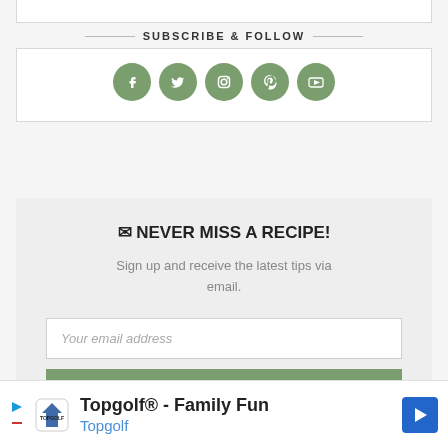SUBSCRIBE & FOLLOW
[Figure (infographic): Five social media icon buttons in green circles: Facebook, Twitter, Instagram, Pinterest, YouTube]
✉ NEVER MISS A RECIPE!
Sign up and receive the latest tips via email.
Your email address
SUBSCRIBE
[Figure (infographic): Advertisement banner for Topgolf - Family Fun with Topgolf logo and navigation arrow icon]